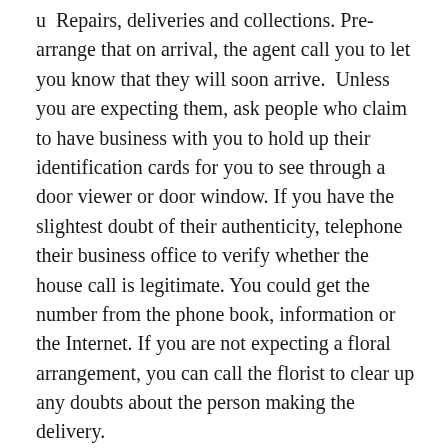u  Repairs, deliveries and collections. Pre-arrange that on arrival, the agent call you to let you know that they will soon arrive.  Unless you are expecting them, ask people who claim to have business with you to hold up their identification cards for you to see through a door viewer or door window. If you have the slightest doubt of their authenticity, telephone their business office to verify whether the house call is legitimate. You could get the number from the phone book, information or the Internet. If you are not expecting a floral arrangement, you can call the florist to clear up any doubts about the person making the delivery.
House number should be visible from the street.
Do not leave repair people alone in your home unless you know them well.